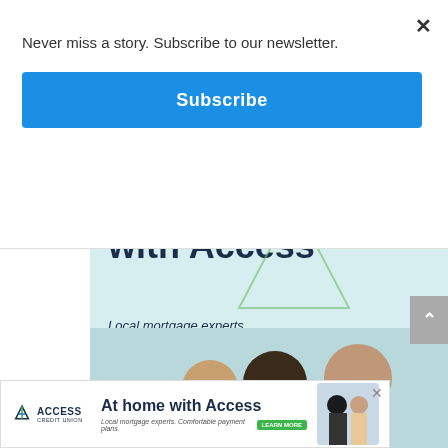Never miss a story. Subscribe to our newsletter.
Subscribe
[Figure (illustration): Access Credit Union advertisement: 'At home with Access' — large dark navy headline text, logo in top right corner, italic subtext 'Local mortgage experts. Comfortable payment plans.', decorative green triangle, photo of smiling family (child, woman, young man) at bottom]
[Figure (illustration): Bottom banner ad for Access Credit Union: 'At home with Access' with logo, subtext, green Learn More button, and family photo on right]
×